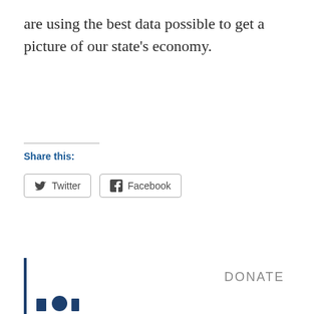are using the best data possible to get a picture of our state's economy.
Share this:
Twitter
Facebook
DONATE